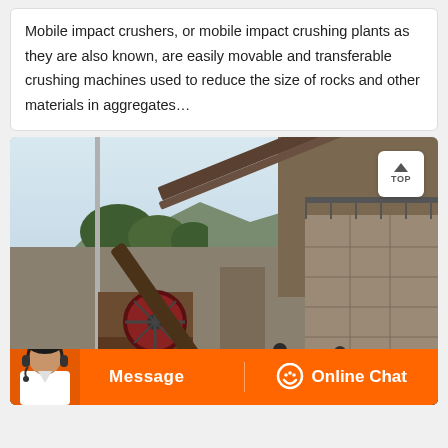Mobile impact crushers, or mobile impact crushing plants as they are also known, are easily movable and transferable crushing machines used to reduce the size of rocks and other materials in aggregates…
[Figure (photo): A mobile impact crushing plant/industrial crusher machine at a quarry or mining site. Large mechanical equipment with conveyor belt, flywheel, stone walls, and scaffolding structure visible. A 'TOP' navigation button is overlaid in the upper right of the image.]